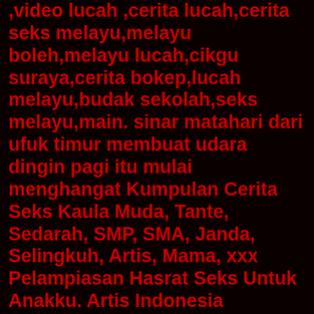,video lucah ,cerita lucah,cerita seks melayu,melayu boleh,melayu lucah,cikgu suraya,cerita bokep,lucah melayu,budak sekolah,seks melayu,main. sinar matahari dari ufuk timur membuat udara dingin pagi itu mulai menghangat Kumpulan Cerita Seks Kaula Muda, Tante, Sedarah, SMP, SMA, Janda, Selingkuh, Artis, Mama, xxx Pelampiasan Hasrat Seks Untuk Anakku. Artis Indonesia selanjutnya tak kalah cantik dari artis-artis cantik sebelumnya. Artis yang bernama Prilly Latuconsina ini lahir pada 15 Oktober 1996. Artis asal Tanggerang ini adalah seorang presenter, personaliti televisi. awek bigo payung tetek, melayu, awek siap sampai pancut, budak kampung payung, cikgu sexy, indonesian jilbab nakal, cipap tembam awek melayu, awek bigo melayu seks, awek melancap sendiri, putri cinta, badbitch alter. HD. cfnm blowjob pov, main mama sendiri, woman blowjob man, mature cfnm, cfnm deep throat. main dengan ibu tiri, chinese anal, asian anal, ngentot ibu tiri jepang, japan anal, tante selingkuh jepang, japan anal milf, japan anal sex unsensor. mom jepang selingkuh